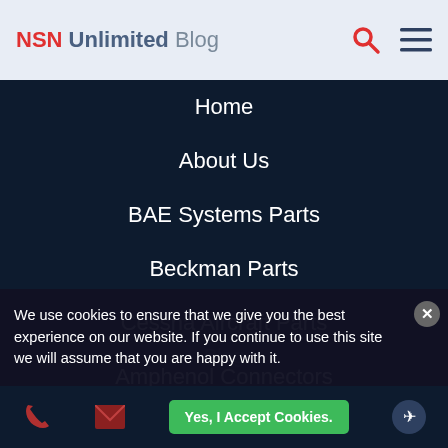NSN Unlimited Blog
Home
About Us
BAE Systems Parts
Beckman Parts
Cessna Aircraft Parts
Amphenol Connectors
Consignment Option
Contact Us
We use cookies to ensure that we give you the best experience on our website. If you continue to use this site we will assume that you are happy with it.
Yes, I Accept Cookies.